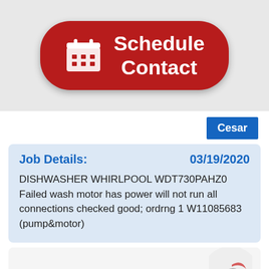[Figure (other): Red rounded button with calendar icon and text 'Schedule Contact']
Cesar
Job Details:        03/19/2020
DISHWASHER WHIRLPOOL WDT730PAHZ0 Failed wash motor has power will not run all connections checked good; ordrng 1 W11085683 (pump&motor)
[Figure (logo): Partial view of a logo with a bird/eagle graphic in a circle, partially cut off at bottom]